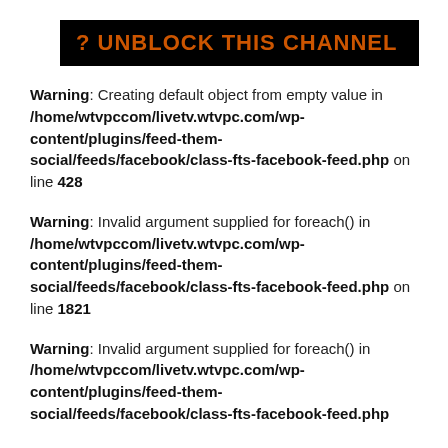? UNBLOCK THIS CHANNEL
Warning: Creating default object from empty value in /home/wtvpccom/livetv.wtvpc.com/wp-content/plugins/feed-them-social/feeds/facebook/class-fts-facebook-feed.php on line 428
Warning: Invalid argument supplied for foreach() in /home/wtvpccom/livetv.wtvpc.com/wp-content/plugins/feed-them-social/feeds/facebook/class-fts-facebook-feed.php on line 1821
Warning: Invalid argument supplied for foreach() in /home/wtvpccom/livetv.wtvpc.com/wp-content/plugins/feed-them-social/feeds/facebook/class-fts-facebook-feed.php